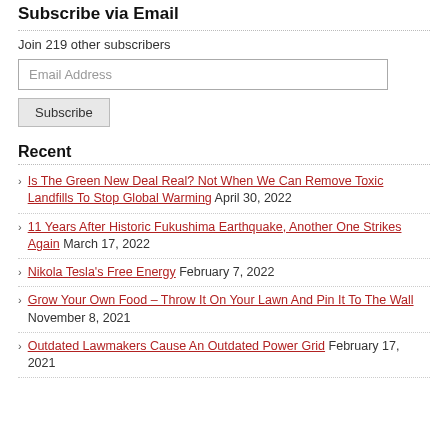Subscribe via Email
Join 219 other subscribers
Email Address
Subscribe
Recent
Is The Green New Deal Real? Not When We Can Remove Toxic Landfills To Stop Global Warming April 30, 2022
11 Years After Historic Fukushima Earthquake, Another One Strikes Again March 17, 2022
Nikola Tesla's Free Energy February 7, 2022
Grow Your Own Food – Throw It On Your Lawn And Pin It To The Wall November 8, 2021
Outdated Lawmakers Cause An Outdated Power Grid February 17, 2021